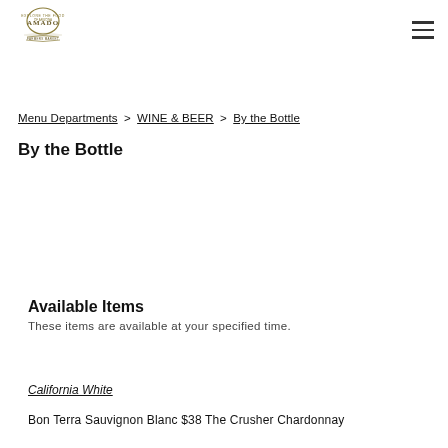AMADO (logo) | hamburger menu
Menu Departments > WINE & BEER > By the Bottle
By the Bottle
Available Items
These items are available at your specified time.
California White
Bon Terra Sauvignon Blanc $38 The Crusher Chardonnay